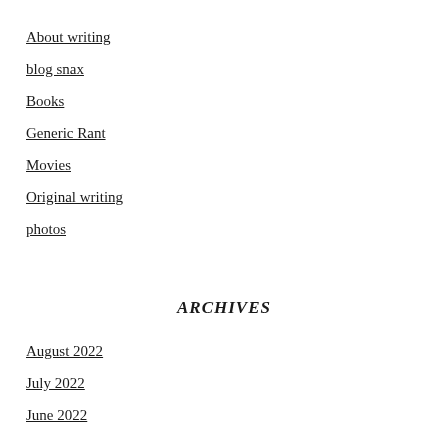About writing
blog snax
Books
Generic Rant
Movies
Original writing
photos
ARCHIVES
August 2022
July 2022
June 2022